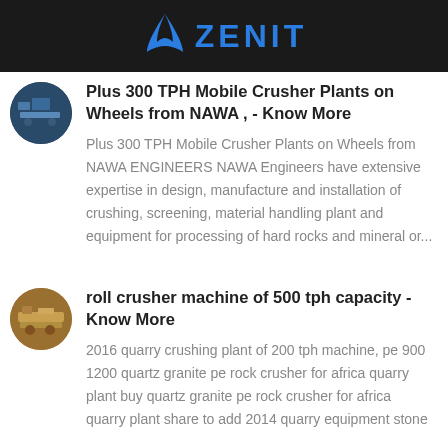ZENIT
Plus 300 TPH Mobile Crusher Plants on Wheels from NAWA , - Know More
Plus 300 TPH Mobile Crusher Plants on Wheels from NAWA ENGINEERS NAWA Engineers have extensive expertise in design, manufacture and installation of crushing, screening, material handling plant and equipment for processing of hard rocks and mineral or...
roll crusher machine of 500 tph capacity - Know More
2016 quarry crushing plant of 200 tph machine, pe 900 1200 quartz granite pe rock crusher for africa quarry plant buy quartz granite pe rock crusher for africa quarry plant share to add 2014 quarry equipment stone